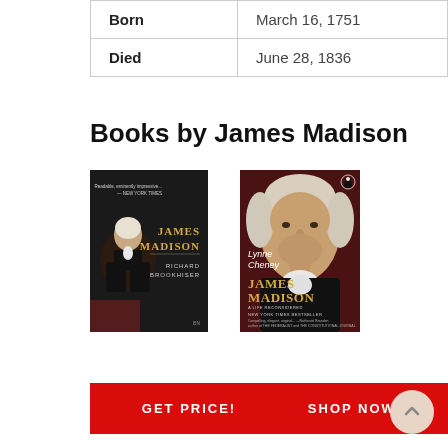| Born | March 16, 1751 |
| Died | June 28, 1836 |
Books by James Madison
[Figure (photo): Book cover: James Madison by Richard Brookhiser — dark cover showing portrait of James Madison with gold title text]
[Figure (photo): Book cover: James Madison by Lynne Cheney — dark red cover showing portrait of James Madison with gold title text and Penguin logo]
GET PRICE!
SHOP NOW!